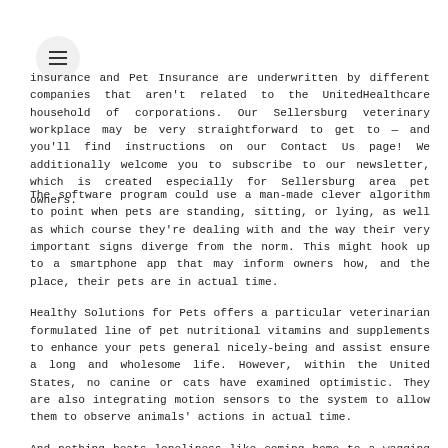menu button / navigation
insurance and Pet Insurance are underwritten by different companies that aren't related to the UnitedHealthcare household of corporations. Our Sellersburg veterinary workplace may be very straightforward to get to — and you'll find instructions on our Contact Us page! We additionally welcome you to subscribe to our newsletter, which is created especially for Sellersburg area pet owners.
The software program could use a man-made clever algorithm to point when pets are standing, sitting, or lying, as well as which course they're dealing with and the way their very important signs diverge from the norm. This might hook up to a smartphone app that may inform owners how, and the place, their pets are in actual time.
Healthy Solutions for Pets offers a particular veterinarian formulated line of pet nutritional vitamins and supplements to enhance your pets general nicely-being and assist ensure a long and wholesome life. However, within the United States, no canine or cats have examined optimistic. They are also integrating motion sensors to the system to allow them to observe animals' actions in actual time.
And nothing beats loneliness like coming home to a wagging tail or purring